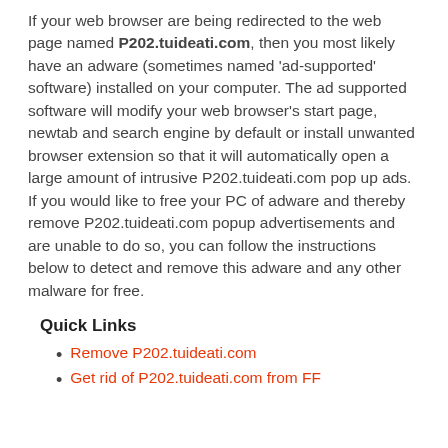If your web browser are being redirected to the web page named P202.tuideati.com, then you most likely have an adware (sometimes named 'ad-supported' software) installed on your computer. The ad supported software will modify your web browser's start page, newtab and search engine by default or install unwanted browser extension so that it will automatically open a large amount of intrusive P202.tuideati.com pop up ads. If you would like to free your PC of adware and thereby remove P202.tuideati.com popup advertisements and are unable to do so, you can follow the instructions below to detect and remove this adware and any other malware for free.
Quick Links
Remove P202.tuideati.com
Get rid of P202.tuideati.com from FF